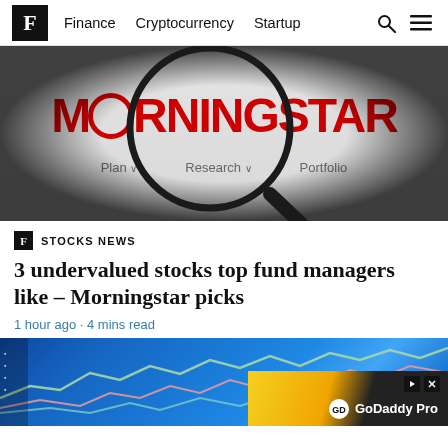F  Finance  Cryptocurrency  Startup
[Figure (photo): Morningstar logo shown through a magnifying glass with Plan, Research and Portfolio navigation links visible in background]
STOCKS NEWS
3 undervalued stocks top fund managers like – Morningstar picks
1 hour ago · 4 mins read
[Figure (photo): Stock market chart lines on blue background, showing colorful upward trending lines]
[Figure (other): GoDaddy Pro advertisement banner with yellow and black diagonal design]